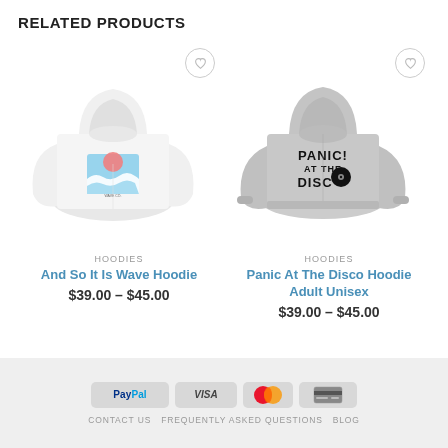RELATED PRODUCTS
[Figure (photo): White hoodie with wave/sunset graphic print]
HOODIES
And So It Is Wave Hoodie
$39.00 – $45.00
[Figure (photo): Grey hoodie with Panic at the Disco text/logo print]
HOODIES
Panic At The Disco Hoodie Adult Unisex
$39.00 – $45.00
[Figure (infographic): Payment method icons: PayPal, VISA, MasterCard, credit card]
CONTACT US   FREQUENTLY ASKED QUESTIONS   BLOG